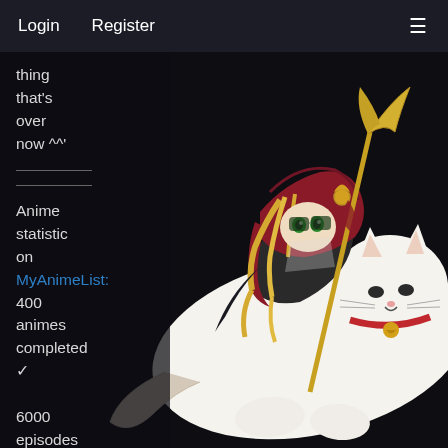Login   Register
thing that's over now ^^'
Anime statistic on MyAnimeList: 400 animes completed ✓
6000 episodes completed ✓
100 Days
[Figure (illustration): Anime-style illustration of a blonde witch character riding a large white cat, holding a golden staff, wearing a red hood and dark outfit, on a dark background.]